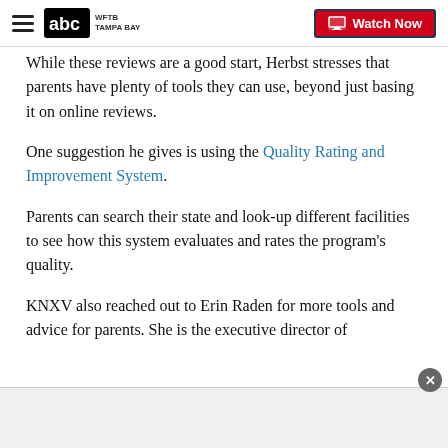WFTB Tampa Bay — Watch Now
While these reviews are a good start, Herbst stresses that parents have plenty of tools they can use, beyond just basing it on online reviews.
One suggestion he gives is using the Quality Rating and Improvement System.
Parents can search their state and look-up different facilities to see how this system evaluates and rates the program's quality.
KNXV also reached out to Erin Raden for more tools and advice for parents. She is the executive director of